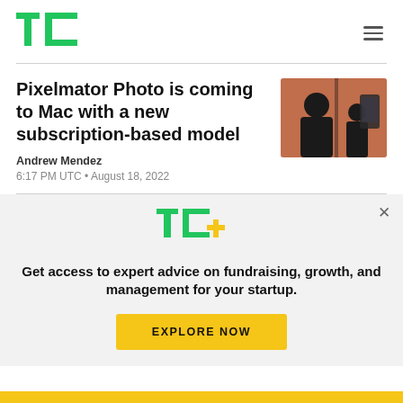TechCrunch logo and navigation
Pixelmator Photo is coming to Mac with a new subscription-based model
Andrew Mendez
6:17 PM UTC • August 18, 2022
[Figure (photo): Silhouette of a person holding what appears to be a photo editing interface displayed on a phone/tablet, dark artistic image on warm background]
Get access to expert advice on fundraising, growth, and management for your startup.
EXPLORE NOW